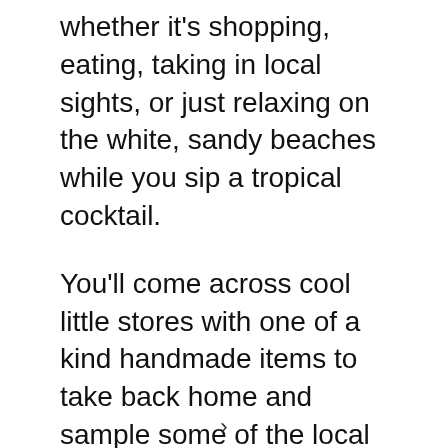whether it's shopping, eating, taking in local sights, or just relaxing on the white, sandy beaches while you sip a tropical cocktail.
You'll come across cool little stores with one of a kind handmade items to take back home and sample some of the local foods to see what the locals love.